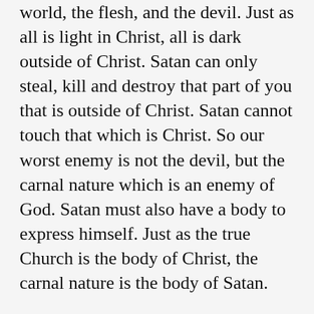world, the flesh, and the devil. Just as all is light in Christ, all is dark outside of Christ. Satan can only steal, kill and destroy that part of you that is outside of Christ. Satan cannot touch that which is Christ. So our worst enemy is not the devil, but the carnal nature which is an enemy of God. Satan must also have a body to express himself. Just as the true Church is the body of Christ, the carnal nature is the body of Satan.
Sin is not a problem with sinners. They could stop sinning and still go to hell. Sin is a problem with the saints. To call the flesh the devil, is to give man an excuse to sin. To walk in the Spirit is to walk in obedience. Rebellion is the issue. If we do not obey, He is not our Lord. The power is in the choice. Christians always have free will. They are ruled with th